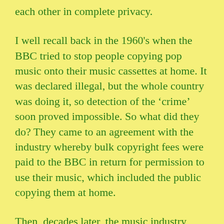each other in complete privacy.
I well recall back in the 1960's when the BBC tried to stop people copying pop music onto their music cassettes at home. It was declared illegal, but the whole country was doing it, so detection of the ‘crime’ soon proved impossible. So what did they do? They came to an agreement with the industry whereby bulk copyright fees were paid to the BBC in return for permission to use their music, which included the public copying them at home.
Then, decades later, the music industry seems to have made a much better fist of adapting to the internet age, with the introduction of legal